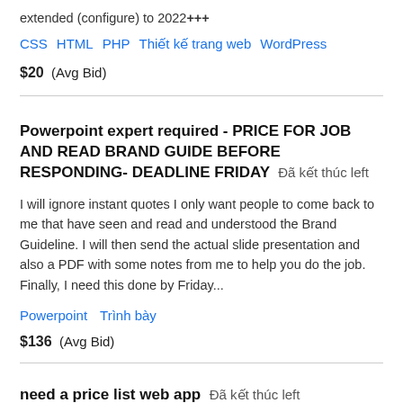extended (configure) to 2022+++
CSS   HTML   PHP   Thiết kế trang web   WordPress
$20  (Avg Bid)
Powerpoint expert required - PRICE FOR JOB AND READ BRAND GUIDE BEFORE RESPONDING- DEADLINE FRIDAY   Đã kết thúc left
I will ignore instant quotes I only want people to come back to me that have seen and read and understood the Brand Guideline. I will then send the actual slide presentation and also a PDF with some notes from me to help you do the job. Finally, I need this done by Friday...
Powerpoint   Trình bày
$136  (Avg Bid)
need a price list web app   Đã kết thúc left